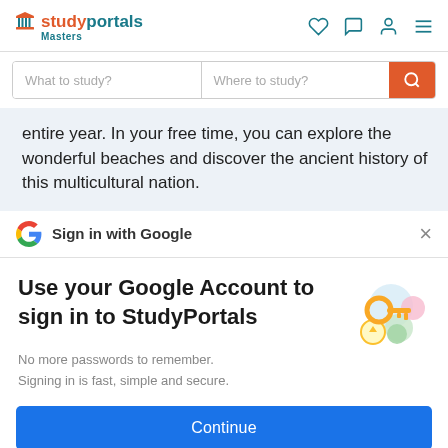studyportals Masters
What to study? | Where to study?
entire year. In your free time, you can explore the wonderful beaches and discover the ancient history of this multicultural nation.
Sign in with Google
Use your Google Account to sign in to StudyPortals
No more passwords to remember.
Signing in is fast, simple and secure.
Continue